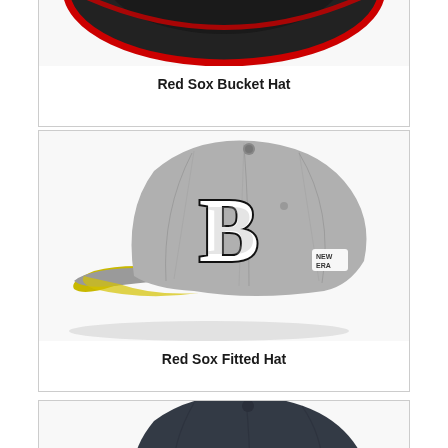[Figure (photo): Red Sox bucket hat viewed from above, black with red lining visible around the brim edge]
Red Sox Bucket Hat
[Figure (photo): Red Sox fitted baseball cap in heathered grey with white Boston B logo outlined in black, New Era logo on side, yellow/green undervisor]
Red Sox Fitted Hat
[Figure (photo): Partial view of a dark navy/charcoal Red Sox hat, cropped at bottom of page]